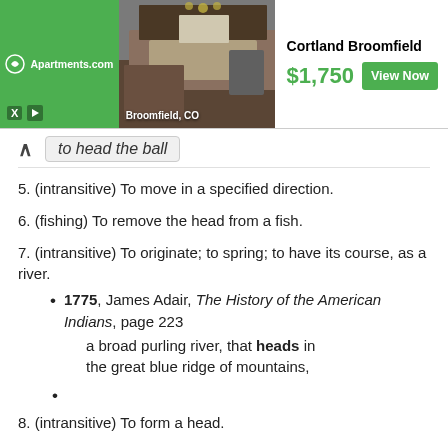[Figure (other): Apartments.com advertisement banner for Cortland Broomfield, showing $1,750 price and View Now button with kitchen photo]
to head the ball
5. (intransitive) To move in a specified direction.
6. (fishing) To remove the head from a fish.
7. (intransitive) To originate; to spring; to have its course, as a river.
1775, James Adair, The History of the American Indians, page 223
a broad purling river, that heads in the great blue ridge of mountains,
•
8. (intransitive) To form a head.